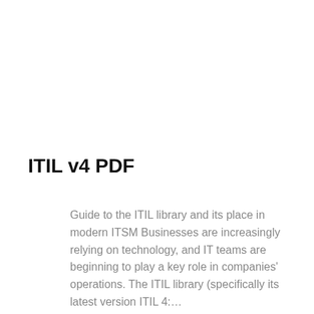ITIL v4 PDF
Guide to the ITIL library and its place in modern ITSM Businesses are increasingly relying on technology, and IT teams are beginning to play a key role in companies' operations. The ITIL library (specifically its latest version ITIL 4:…